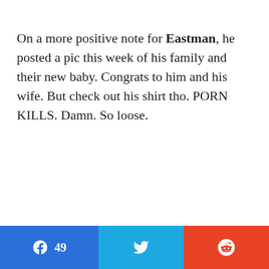On a more positive note for Eastman, he posted a pic this week of his family and their new baby. Congrats to him and his wife. But check out his shirt tho. PORN KILLS. Damn. So loose.
[Figure (other): Social share bar with Facebook (49 shares), Twitter, and Reddit buttons]